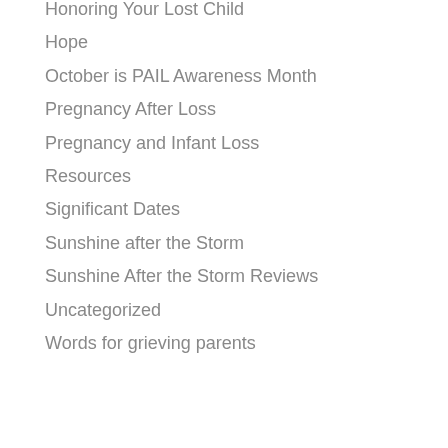Honoring Your Lost Child
Hope
October is PAIL Awareness Month
Pregnancy After Loss
Pregnancy and Infant Loss
Resources
Significant Dates
Sunshine after the Storm
Sunshine After the Storm Reviews
Uncategorized
Words for grieving parents